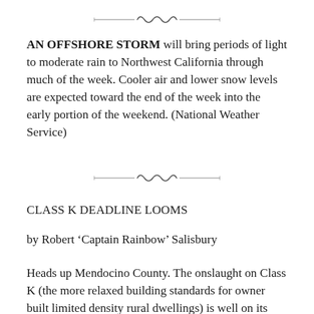[Figure (illustration): Decorative ornamental divider with scrollwork and horizontal lines]
AN OFFSHORE STORM will bring periods of light to moderate rain to Northwest California through much of the week. Cooler air and lower snow levels are expected toward the end of the week into the early portion of the weekend. (National Weather Service)
[Figure (illustration): Decorative ornamental divider with scrollwork and horizontal lines]
CLASS K DEADLINE LOOMS
by Robert ‘Captain Rainbow’ Salisbury
Heads up Mendocino County. The onslaught on Class K (the more relaxed building standards for owner built limited density rural dwellings) is well on its way and